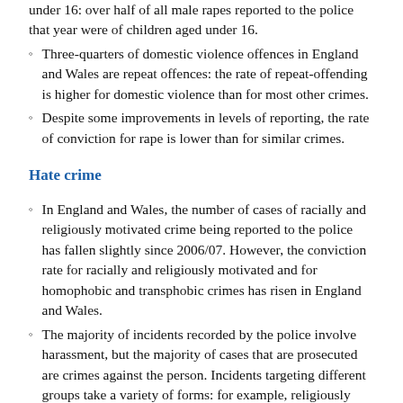under 16: over half of all male rapes reported to the police that year were of children aged under 16.
Three-quarters of domestic violence offences in England and Wales are repeat offences: the rate of repeat-offending is higher for domestic violence than for most other crimes.
Despite some improvements in levels of reporting, the rate of conviction for rape is lower than for similar crimes.
Hate crime
In England and Wales, the number of cases of racially and religiously motivated crime being reported to the police has fallen slightly since 2006/07. However, the conviction rate for racially and religiously motivated and for homophobic and transphobic crimes has risen in England and Wales.
The majority of incidents recorded by the police involve harassment, but the majority of cases that are prosecuted are crimes against the person. Incidents targeting different groups take a variety of forms: for example, religiously motivated crime affects community institutions as well as individuals; hate crime targeting LGB people can involve sexual assault and disability